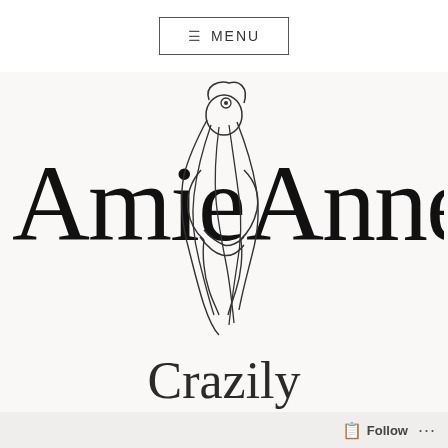≡ MENU
[Figure (logo): Blog logo with cursive script text 'Amie Anne' flanking a line-art illustration of a woman with long flowing hair viewed from behind]
Crazily
Amaizinh (Ti...
Follow ...